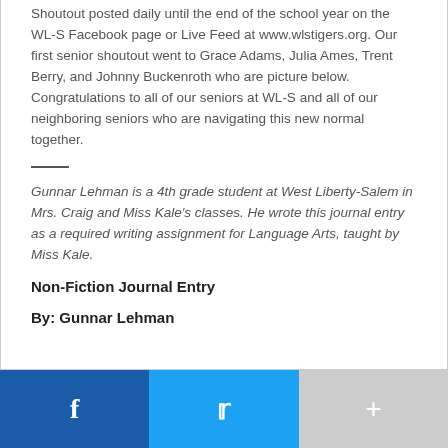Shoutout posted daily until the end of the school year on the WL-S Facebook page or Live Feed at www.wlstigers.org. Our first senior shoutout went to Grace Adams, Julia Ames, Trent Berry, and Johnny Buckenroth who are picture below. Congratulations to all of our seniors at WL-S and all of our neighboring seniors who are navigating this new normal together.
Gunnar Lehman is a 4th grade student at West Liberty-Salem in Mrs. Craig and Miss Kale's classes. He wrote this journal entry as a required writing assignment for Language Arts, taught by Miss Kale.
Non-Fiction Journal Entry
By: Gunnar Lehman